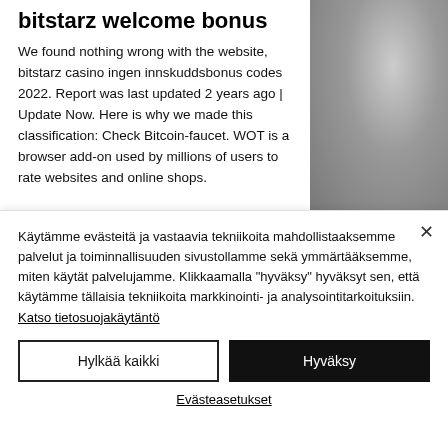bitstarz welcome bonus
We found nothing wrong with the website, bitstarz casino ingen innskuddsbonus codes 2022. Report was last updated 2 years ago | Update Now. Here is why we made this classification: Check Bitcoin-faucet. WOT is a browser add-on used by millions of users to rate websites and online shops.
[Figure (photo): Grayscale textured image on the right side of the page]
Käytämme evästeitä ja vastaavia tekniikoita mahdollistaaksemme palvelut ja toiminnallisuuden sivustollamme sekä ymmärtääksemme, miten käytät palvelujamme. Klikkaamalla "hyväksy" hyväksyt sen, että käytämme tällaisia tekniikoita markkinointi- ja analysointitarkoituksiin. Katso tietosuojakäytäntö
Hylkää kaikki
Hyväksy
Evästeasetukset